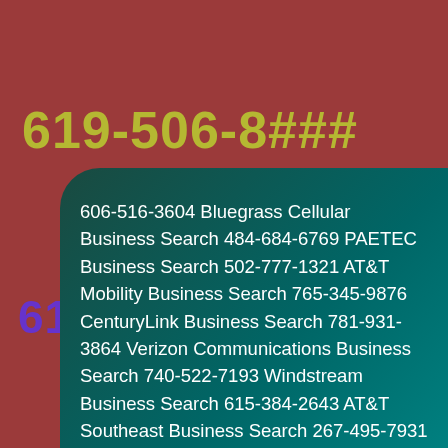619-506-8###
6195068
606-516-3604 Bluegrass Cellular Business Search 484-684-6769 PAETEC Business Search 502-777-1321 AT&T Mobility Business Search 765-345-9876 CenturyLink Business Search 781-931-3864 Verizon Communications Business Search 740-522-7193 Windstream Business Search 615-384-2643 AT&T Southeast Business Search 267-495-7931 US LEC Business Search 770-219-8271 AT&T Southeast